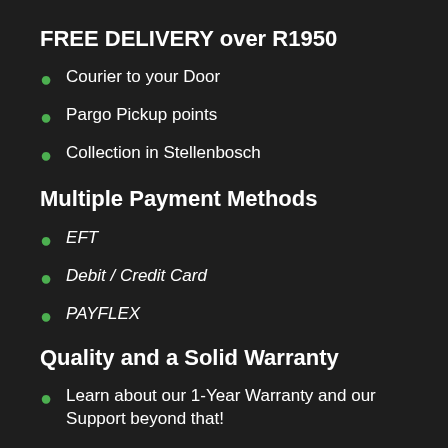FREE DELIVERY over R1950
Courier to your Door
Pargo Pickup points
Collection in Stellenbosch
Multiple Payment Methods
EFT
Debit / Credit Card
PAYFLEX
Quality and a Solid Warranty
Learn about our 1-Year Warranty and our Support beyond that!